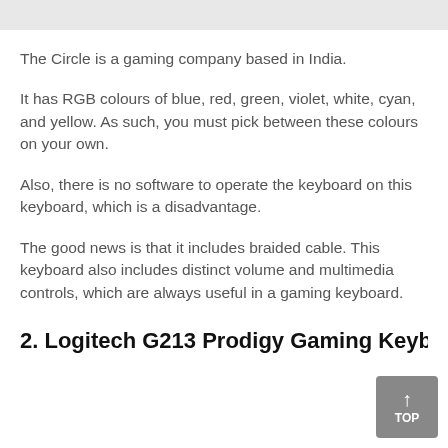The Circle is a gaming company based in India.
It has RGB colours of blue, red, green, violet, white, cyan, and yellow. As such, you must pick between these colours on your own.
Also, there is no software to operate the keyboard on this keyboard, which is a disadvantage.
The good news is that it includes braided cable. This keyboard also includes distinct volume and multimedia controls, which are always useful in a gaming keyboard.
2. Logitech G213 Prodigy Gaming Keyboard